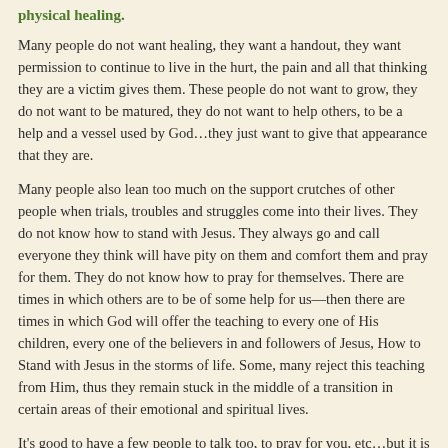physical healing.
Many people do not want healing, they want a handout, they want permission to continue to live in the hurt, the pain and all that thinking they are a victim gives them. These people do not want to grow, they do not want to be matured, they do not want to help others, to be a help and a vessel used by God…they just want to give that appearance that they are.
Many people also lean too much on the support crutches of other people when trials, troubles and struggles come into their lives. They do not know how to stand with Jesus. They always go and call everyone they think will have pity on them and comfort them and pray for them. They do not know how to pray for themselves. There are times in which others are to be of some help for us—then there are times in which God will offer the teaching to every one of His children, every one of the believers in and followers of Jesus, How to Stand with Jesus in the storms of life. Some, many reject this teaching from Him, thus they remain stuck in the middle of a transition in certain areas of their emotional and spiritual lives.
It's good to have a few people to talk too, to pray for you, etc…but it is Better to know how to do that yourself with Just Jesus by your